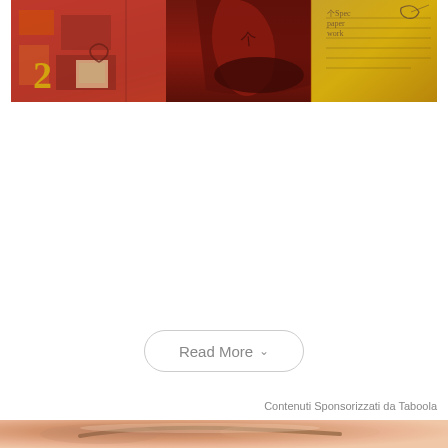[Figure (illustration): Abstract mixed-media artwork with red, orange, and golden tones featuring collage elements including figures, numbers, and handwritten text fragments]
Read More
Contenuti Sponsorizzati da Taboola
[Figure (photo): Close-up photo of a person's face, showing skin texture in warm skin tones]